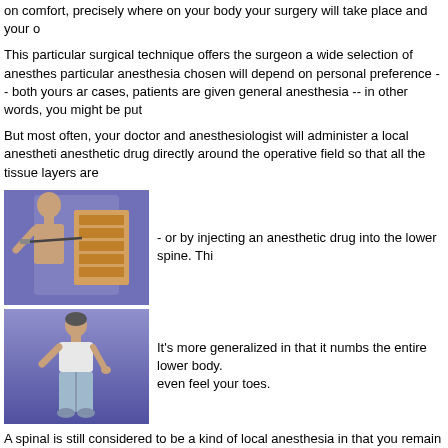on comfort, precisely where on your body your surgery will take place and your o
This particular surgical technique offers the surgeon a wide selection of anesthesia options. The particular anesthesia chosen will depend on personal preference -- both yours and the surgeon's. In some cases, patients are given general anesthesia -- in other words, you might be put t
But most often, your doctor and anesthesiologist will administer a local anesthetic -- injecting the anesthetic drug directly around the operative field so that all the tissue layers are
[Figure (illustration): Medical illustration showing injection into the lower spine area of a human figure, with a cross-section view of the spine.]
- or by injecting an anesthetic drug into the lower spine. Thi
[Figure (illustration): Medical illustration showing a standing human figure from the front, illustrating the lower body affected by spinal anesthesia.]
It's more generalized in that it numbs the entire lower body. even feel your toes.
A spinal is still considered to be a kind of local anesthesia in that you remain awa extremely effective, but takes a little longer to wear off than does a more localize
Whatever method of pain relief is chosen, the anesthesia will probably be accom intravenous sedative as well.
If you've ever experienced any allergic reaction to anesthesia or to any other sub your surgeon or anesthesiologist know well beforehand.
previous        top of page